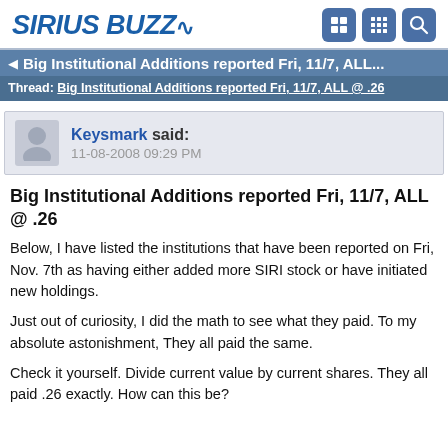SIRIUS BUZZ
Big Institutional Additions reported Fri, 11/7, ALL...
Thread: Big Institutional Additions reported Fri, 11/7, ALL @ .26
Keysmark said: 11-08-2008 09:29 PM
Big Institutional Additions reported Fri, 11/7, ALL @ .26
Below, I have listed the institutions that have been reported on Fri, Nov. 7th as having either added more SIRI stock or have initiated new holdings.

Just out of curiosity, I did the math to see what they paid. To my absolute astonishment, They all paid the same.

Check it yourself. Divide current value by current shares. They all paid .26 exactly. How can this be?